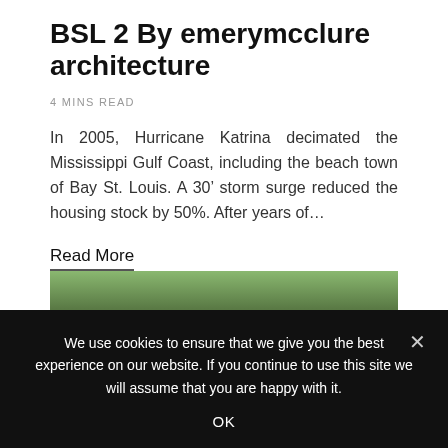BSL 2 By emerymcclure architecture
4 MINS READ
In 2005, Hurricane Katrina decimated the Mississippi Gulf Coast, including the beach town of Bay St. Louis. A 30’ storm surge reduced the housing stock by 50%. After years of…
Read More
[Figure (photo): Partial view of a building or structure with trees in the background, cropped at the bottom of the page]
We use cookies to ensure that we give you the best experience on our website. If you continue to use this site we will assume that you are happy with it.
OK